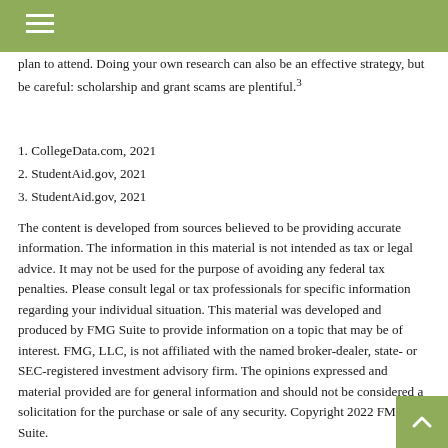plan to attend. Doing your own research can also be an effective strategy, but be careful: scholarship and grant scams are plentiful.³
1. CollegeData.com, 2021
2. StudentAid.gov, 2021
3. StudentAid.gov, 2021
The content is developed from sources believed to be providing accurate information. The information in this material is not intended as tax or legal advice. It may not be used for the purpose of avoiding any federal tax penalties. Please consult legal or tax professionals for specific information regarding your individual situation. This material was developed and produced by FMG Suite to provide information on a topic that may be of interest. FMG, LLC, is not affiliated with the named broker-dealer, state- or SEC-registered investment advisory firm. The opinions expressed and material provided are for general information and should not be considered a solicitation for the purchase or sale of any security. Copyright 2022 FMG Suite.